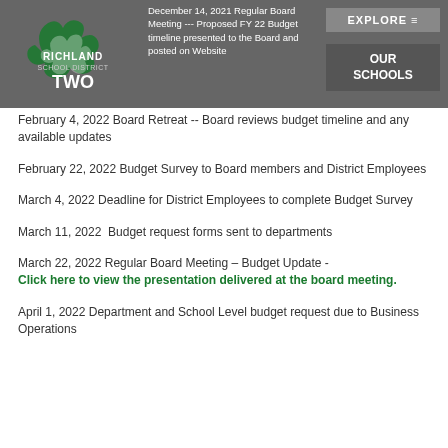December 14, 2021 Regular Board Meeting --- Proposed FY 22 Budget timeline presented to the Board and posted on Website
February 4, 2022 Board Retreat -- Board reviews budget timeline and any available updates
February 22, 2022 Budget Survey to Board members and District Employees
March 4, 2022 Deadline for District Employees to complete Budget Survey
March 11, 2022  Budget request forms sent to departments
March 22, 2022 Regular Board Meeting – Budget Update - Click here to view the presentation delivered at the board meeting.
April 1, 2022 Department and School Level budget request due to Business Operations